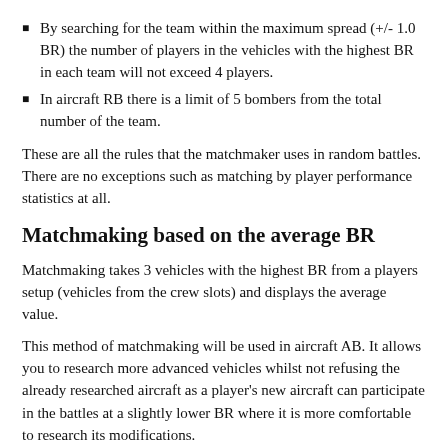By searching for the team within the maximum spread (+/- 1.0 BR) the number of players in the vehicles with the highest BR in each team will not exceed 4 players.
In aircraft RB there is a limit of 5 bombers from the total number of the team.
These are all the rules that the matchmaker uses in random battles. There are no exceptions such as matching by player performance statistics at all.
Matchmaking based on the average BR
Matchmaking takes 3 vehicles with the highest BR from a players setup (vehicles from the crew slots) and displays the average value.
This method of matchmaking will be used in aircraft AB. It allows you to research more advanced vehicles whilst not refusing the already researched aircraft as a player's new aircraft can participate in the battles at a slightly lower BR where it is more comfortable to research its modifications.
Averaging formula